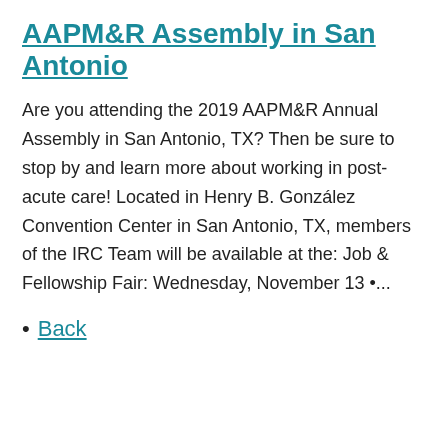AAPM&R Assembly in San Antonio
Are you attending the 2019 AAPM&R Annual Assembly in San Antonio, TX? Then be sure to stop by and learn more about working in post-acute care! Located in Henry B. González Convention Center in San Antonio, TX, members of the IRC Team will be available at the: Job & Fellowship Fair: Wednesday, November 13 •...
Back